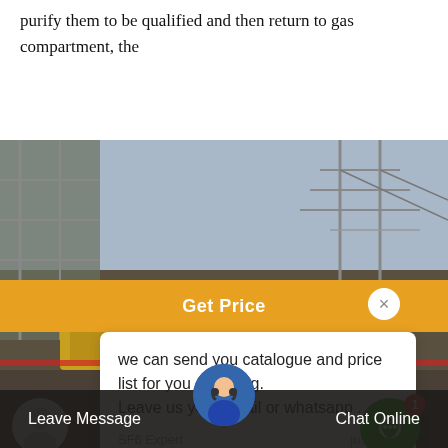purify them to be qualified and then return to gas compartment, the
[Figure (screenshot): Website chat popup overlay on an industrial electrical substation photo. Shows an orange 'Get Price' header bar with a close button, a white chat message box saying 'we can send you catalogue and price list for you choosing. Leave us your email or whatsapp .' attributed to 'SF6 Expert' 'just now', a reply input box with 'Write a reply..' placeholder, a green chat bubble icon with a red badge showing '1', and a scroll-up arrow button. Background shows industrial SF6 equipment and power substation.]
Leave Message   Chat Online